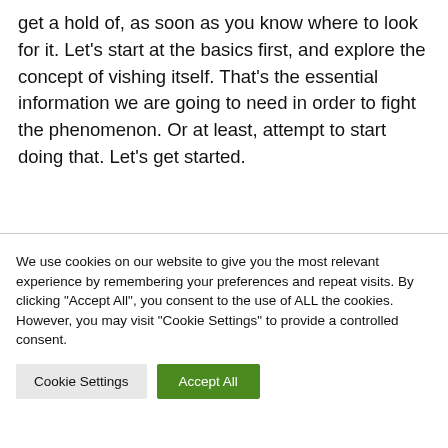get a hold of, as soon as you know where to look for it. Let's start at the basics first, and explore the concept of vishing itself. That's the essential information we are going to need in order to fight the phenomenon. Or at least, attempt to start doing that. Let's get started.
We use cookies on our website to give you the most relevant experience by remembering your preferences and repeat visits. By clicking "Accept All", you consent to the use of ALL the cookies. However, you may visit "Cookie Settings" to provide a controlled consent.